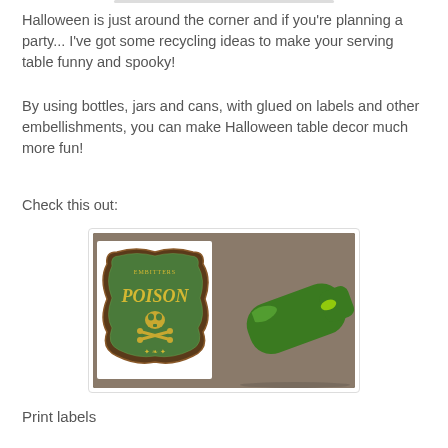Halloween is just around the corner and if you're planning a party... I've got some recycling ideas to make your serving table funny and spooky!
By using bottles, jars and cans, with glued on labels and other embellishments, you can make Halloween table decor much more fun!
Check this out:
[Figure (photo): A printed Halloween poison label with skull and crossbones design next to a green wine bottle lying on a granite countertop]
Print labels
Trim them off